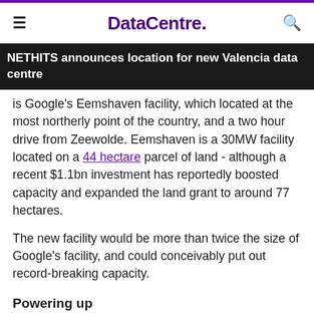DataCentre.
NETHITS announces location for new Valencia data centre
is Google's Eemshaven facility, which located at the most northerly point of the country, and a two hour drive from Zeewolde. Eemshaven is a 30MW facility located on a 44 hectare parcel of land - although a recent $1.1bn investment has reportedly boosted capacity and expanded the land grant to around 77 hectares.
The new facility would be more than twice the size of Google's facility, and could conceivably put out record-breaking capacity.
Powering up
One way to get an idea of the scale of this facility is to look at the power infrastructure surrounding it. AD spoke to German energy supplier Tennet, which